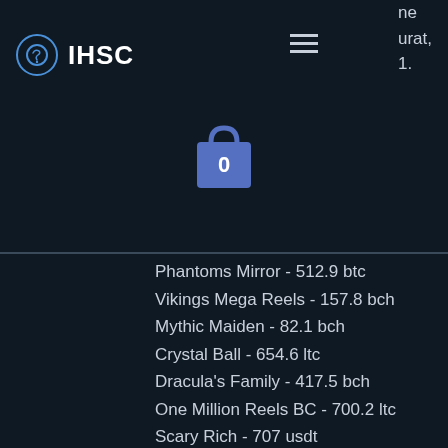IHSC
[Figure (illustration): Shopping bag icon with 0 badge]
Phantoms Mirror - 512.9 btc
Vikings Mega Reels - 157.8 bch
Mythic Maiden - 82.1 bch
Crystal Ball - 654.6 ltc
Dracula's Family - 417.5 bch
One Million Reels BC - 700.2 ltc
Scary Rich - 707 usdt
Wild Turkey - 549.6 usdt
Egypt Gods - 681.5 eth
Fortune Cookie - 175.4 btc
Terminator 2 - 281.7 ltc
Winter Wonders - 285.8 btc
Dragon Dance - 483.2 ltc
The Great Conflict - 616.1 btc
Wicked Circus - 380.5 bch